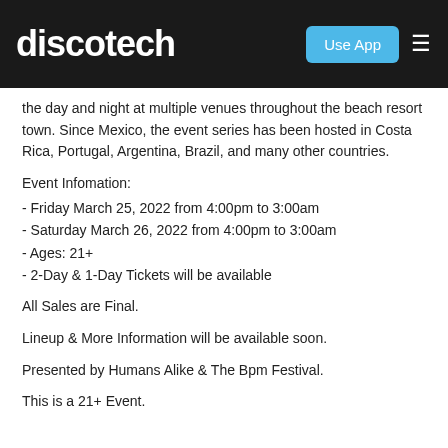discotech | Use App
the day and night at multiple venues throughout the beach resort town. Since Mexico, the event series has been hosted in Costa Rica, Portugal, Argentina, Brazil, and many other countries.
Event Infomation:
- Friday March 25, 2022 from 4:00pm to 3:00am
- Saturday March 26, 2022 from 4:00pm to 3:00am
- Ages: 21+
- 2-Day & 1-Day Tickets will be available
All Sales are Final.
Lineup & More Information will be available soon.
Presented by Humans Alike & The Bpm Festival.
This is a 21+ Event.